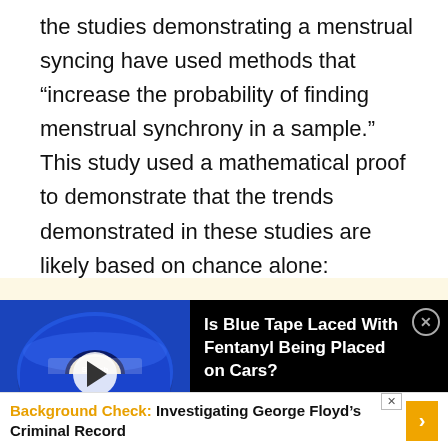the studies demonstrating a menstrual syncing have used methods that “increase the probability of finding menstrual synchrony in a sample.” This study used a mathematical proof to demonstrate that the trends demonstrated in these studies are likely based on chance alone:
[These studies] assume that a decrease in onset differences between pairs of subjects over the
[Figure (other): Advertisement overlay showing a roll of blue Scotch masking tape on a dark background with a play button, alongside text reading 'Is Blue Tape Laced With Fentanyl Being Placed on Cars?' with a close button.]
Background Check: Investigating George Floyd’s Criminal Record